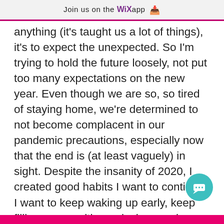Join us on the WiX app ↓
anything (it's taught us a lot of things), it's to expect the unexpected. So I'm trying to hold the future loosely, not put too many expectations on the new year. Even though we are so, so tired of staying home, we're determined to not become complacent in our pandemic precautions, especially now that the end is (at least vaguely) in sight. Despite the insanity of 2020, I created good habits I want to continue. I want to keep waking up early, keep filling pages with words, keep going on walks, keep getting the kids in nature as much as possible.
[Figure (illustration): Teal circular chat bubble button with a speech bubble icon, positioned bottom-right]